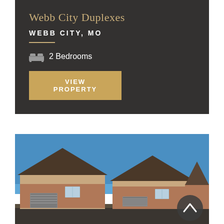Webb City Duplexes
WEBB CITY, MO
2 Bedrooms
VIEW PROPERTY
[Figure (photo): Exterior photo of Webb City Duplexes, a brick duplex building with peaked roofs, garage doors, and clear blue sky background.]